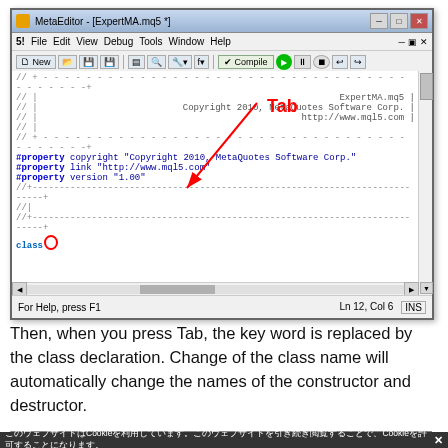[Figure (screenshot): MetaEditor IDE screenshot showing MQL5 code with a 'Tab' annotation arrow pointing to a cursor at line 12 col 6, indicating the class keyword autocomplete trigger. Status bar shows 'For Help, press F1' and 'Ln 12, Col 6' and 'INS'.]
Then, when you press Tab, the key word is replaced by the class declaration. Change of the class name will automatically change the names of the constructor and destructor.
[Figure (screenshot): Partial screenshot of MetaEditor (cropped at bottom of page).]
このウェブサイトはCookieを利用しています。このウェブサイトを引き続き閲覧することで、Cookieを許可することになります。X